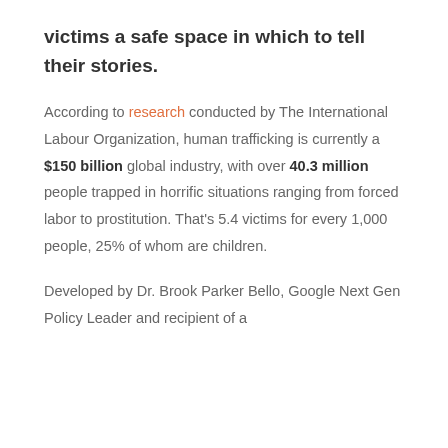victims a safe space in which to tell their stories.
According to research conducted by The International Labour Organization, human trafficking is currently a $150 billion global industry, with over 40.3 million people trapped in horrific situations ranging from forced labor to prostitution. That's 5.4 victims for every 1,000 people, 25% of whom are children.
Developed by Dr. Brook Parker Bello, Google Next Gen Policy Leader and recipient of a